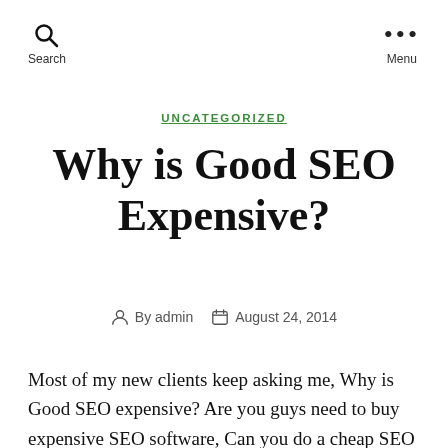Search  Menu
UNCATEGORIZED
Why is Good SEO Expensive?
By admin  August 24, 2014
Most of my new clients keep asking me, Why is Good SEO expensive? Are you guys need to buy expensive SEO software, Can you do a cheap SEO package for me? Here we go, these are the reasons, why search